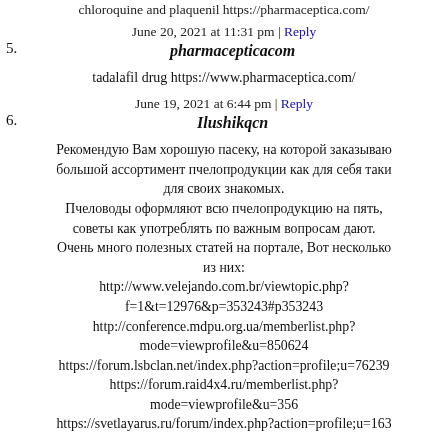chloroquine and plaquenil https://pharmaceptica.com/
June 20, 2021 at 11:31 pm | Reply
5. pharmacepticacom
tadalafil drug https://www.pharmaceptica.com/
June 19, 2021 at 6:44 pm | Reply
6. Ilushikqcn
Рекомендую Вам хорошую пасеку, на которой заказываю большой ассортимент пчелопродукции как для себя таки для своих знакомых.
Пчеловоды оформляют всю пчелопродукцию на пять, советы как употреблять по важным вопросам дают.
Очень много полезных статей на портале, Вот несколько из них:
http://www.velejando.com.br/viewtopic.php?f=1&t=12976&p=353243#p353243
http://conference.mdpu.org.ua/memberlist.php?mode=viewprofile&u=850624
https://forum.lsbclan.net/index.php?action=profile;u=76239
https://forum.raid4x4.ru/memberlist.php?mode=viewprofile&u=356
https://svetlayarus.ru/forum/index.php?action=profile;u=163